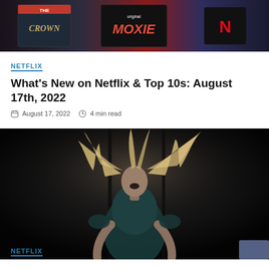[Figure (photo): Top banner image showing Netflix content cards including The Crown and Moxie on a dark background]
NETFLIX
What's New on Netflix & Top 10s: August 17th, 2022
August 17, 2022   4 min read
[Figure (photo): Dark dramatic photo of a woman with wild flowing blond hair, mouth open as if screaming, wearing a dark teal/green dress, against a very dark background]
NETFLIX